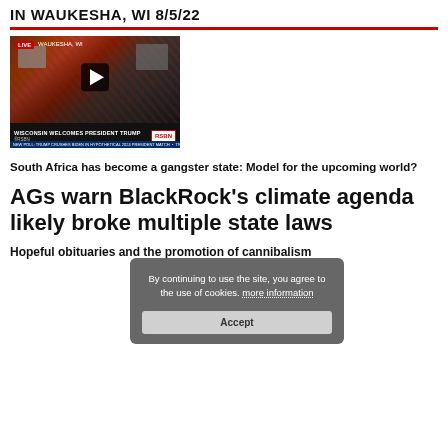IN WAUKESHA, WI 8/5/22
[Figure (screenshot): Video player showing a Trump rally in Waukesha, WI with RSBN live coverage. Lower bar reads 'WISCONSIN WELCOMES PRESIDENT TRUMP' with RSBN logo.]
South Africa has become a gangster state: Model for the upcoming world?
AGs warn BlackRock’s climate agenda likely broke multiple state laws
Hopeful obituaries and the promotion of cannibalism